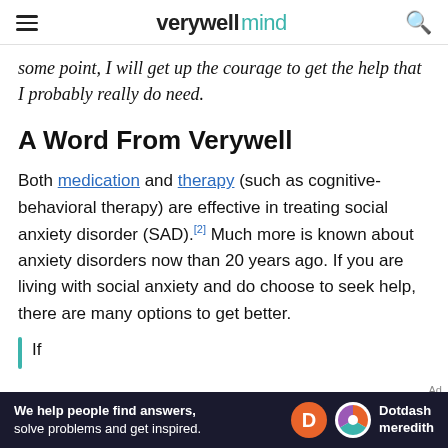verywell mind
some point, I will get up the courage to get the help that I probably really do need.
A Word From Verywell
Both medication and therapy (such as cognitive-behavioral therapy) are effective in treating social anxiety disorder (SAD). [2] Much more is known about anxiety disorders now than 20 years ago. If you are living with social anxiety and do choose to seek help, there are many options to get better.
If you are living with social anxiety...
[Figure (logo): Dotdash Meredith advertisement banner at bottom of page]